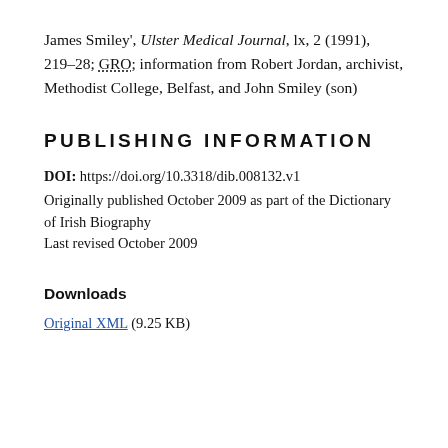James Smiley', Ulster Medical Journal, lx, 2 (1991), 219–28; GRO; information from Robert Jordan, archivist, Methodist College, Belfast, and John Smiley (son)
PUBLISHING INFORMATION
DOI: https://doi.org/10.3318/dib.008132.v1
Originally published October 2009 as part of the Dictionary of Irish Biography
Last revised October 2009
Downloads
Original XML (9.25 KB)